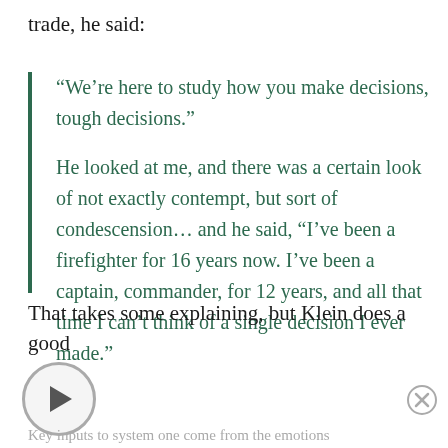trade, he said:
“We’re here to study how you make decisions, tough decisions.”

He looked at me, and there was a certain look of not exactly contempt, but sort of condescension… and he said, “I’ve been a firefighter for 16 years now. I’ve been a captain, commander, for 12 years, and all that time I can’t think of a single decision I ever made.”
That takes some explaining, but Klein does a good
[Figure (other): Play button circle icon]
[Figure (other): Close/X button circle icon]
Key inputs to system one come from the emotions